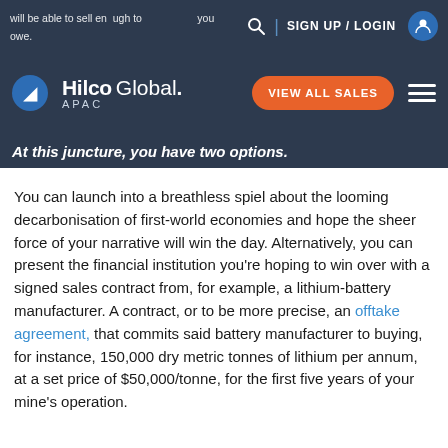will be able to sell enough to ... you owe.
[Figure (logo): Hilco Global APAC logo with navigation bar including VIEW ALL SALES button and hamburger menu]
At this juncture, you have two options.
You can launch into a breathless spiel about the looming decarbonisation of first-world economies and hope the sheer force of your narrative will win the day. Alternatively, you can present the financial institution you’re hoping to win over with a signed sales contract from, for example, a lithium-battery manufacturer. A contract, or to be more precise, an offtake agreement, that commits said battery manufacturer to buying, for instance, 150,000 dry metric tonnes of lithium per annum, at a set price of $50,000/tonne, for the first five years of your mine’s operation.